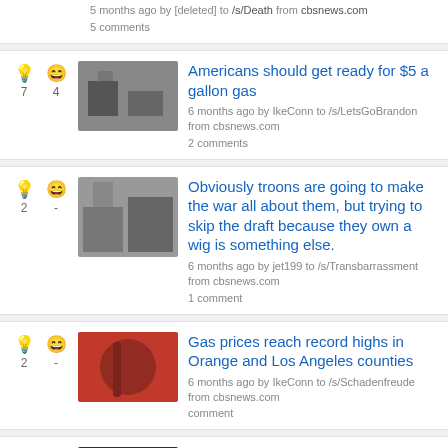5 months ago by [deleted] to /s/Death from cbsnews.com
5 comments
Americans should get ready for $5 a gallon gas — 6 months ago by IkeConn to /s/LetsGoBrandon from cbsnews.com — 2 comments
Obviously troons are going to make the war all about them, but trying to skip the draft because they own a wig is something else. — 6 months ago by jet199 to /s/Transbarrassment from cbsnews.com — 1 comment
Gas prices reach record highs in Orange and Los Angeles counties — 6 months ago by IkeConn to /s/Schadenfreude from cbsnews.com — comment
Federal Reserve: Expect 3 interest-rate hikes in 2022 — 8 months ago by AadrianAddison to /s/news from